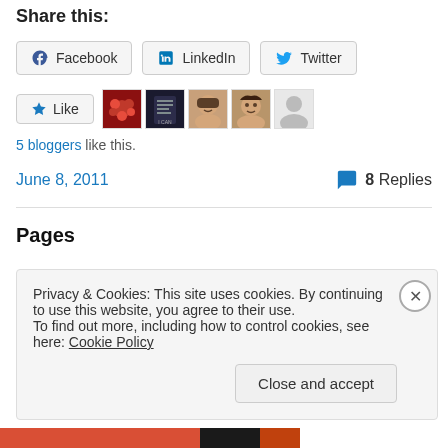Share this:
Facebook  LinkedIn  Twitter
[Figure (other): Like button and 5 user avatar thumbnails]
5 bloggers like this.
June 8, 2011   8 Replies
Pages
Privacy & Cookies: This site uses cookies. By continuing to use this website, you agree to their use.
To find out more, including how to control cookies, see here: Cookie Policy